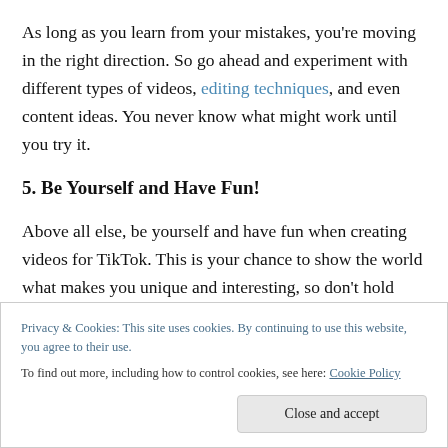As long as you learn from your mistakes, you're moving in the right direction. So go ahead and experiment with different types of videos, editing techniques, and even content ideas. You never know what might work until you try it.
5. Be Yourself and Have Fun!
Above all else, be yourself and have fun when creating videos for TikTok. This is your chance to show the world what makes you unique and interesting, so don't hold back. Be funny, be creative, be daring – just be yourself
Privacy & Cookies: This site uses cookies. By continuing to use this website, you agree to their use.
To find out more, including how to control cookies, see here: Cookie Policy